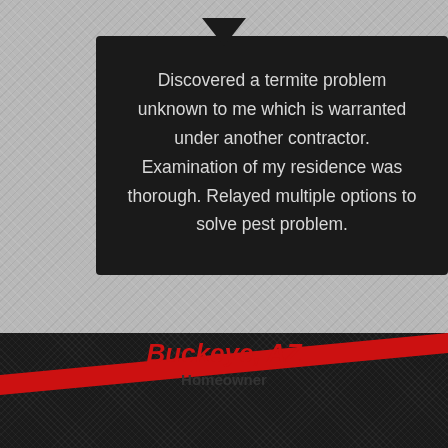Discovered a termite problem unknown to me which is warranted under another contractor. Examination of my residence was thorough. Relayed multiple options to solve pest problem.
Buckeye, AZ
Homeowner